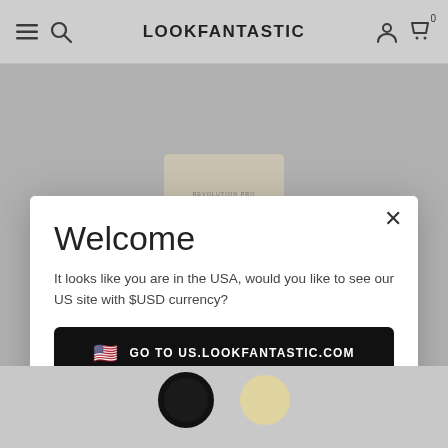LOOKFANTASTIC
[Figure (screenshot): E-commerce website modal popup on LOOKFANTASTIC showing a region redirect prompt asking if user wants to visit US.LOOKFANTASTIC.COM with USD currency, with a dark button and a dismiss link]
Welcome
It looks like you are in the USA, would you like to see our US site with $USD currency?
GO TO US.LOOKFANTASTIC.COM
No Thanks, Stay on LOOKFANTASTIC.COM